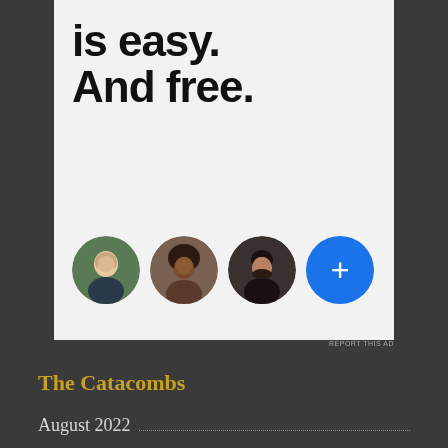[Figure (screenshot): Advertisement panel on dark background showing bold text 'is easy. And free.' with three circular profile photos and a blue plus-circle button below]
REPORT THIS AD
The Catacombs
August 2022